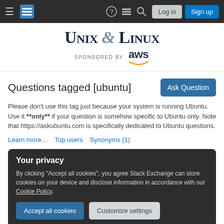Unix & Linux Stack Exchange — nav bar with Log in and Sign up buttons
[Figure (logo): Unix & Linux site logo with 'UNIX & LINUX' in serif font, sponsored by AWS]
Questions tagged [ubuntu]
Please don't use this tag just because your system is running Ubuntu. Use it **only** if your question is somehow specific to Ubuntu only. Note that https://askubuntu.com is specifically dedicated to Ubuntu questions.
Learn more...
Top users
Synonyms (1)
Your privacy
By clicking "Accept all cookies", you agree Stack Exchange can store cookies on your device and disclose information in accordance with our Cookie Policy.
Accept all cookies   Customize settings
Why does ZFS scrub not complete?